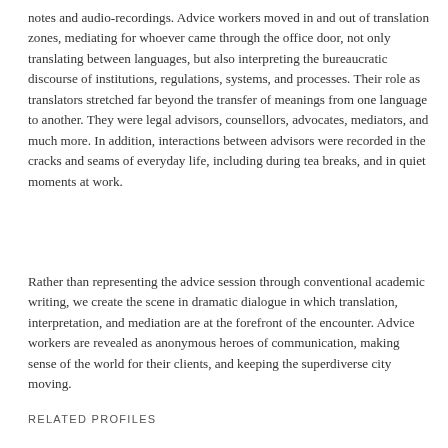notes and audio-recordings. Advice workers moved in and out of translation zones, mediating for whoever came through the office door, not only translating between languages, but also interpreting the bureaucratic discourse of institutions, regulations, systems, and processes. Their role as translators stretched far beyond the transfer of meanings from one language to another. They were legal advisors, counsellors, advocates, mediators, and much more. In addition, interactions between advisors were recorded in the cracks and seams of everyday life, including during tea breaks, and in quiet moments at work.
Rather than representing the advice session through conventional academic writing, we create the scene in dramatic dialogue in which translation, interpretation, and mediation are at the forefront of the encounter. Advice workers are revealed as anonymous heroes of communication, making sense of the world for their clients, and keeping the superdiverse city moving.
RELATED PROFILES